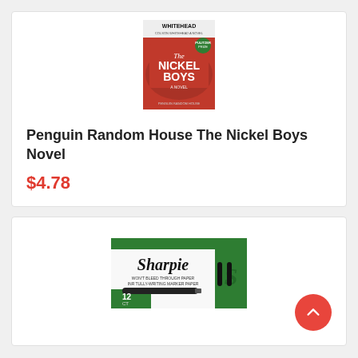[Figure (photo): Book cover of The Nickel Boys by Colson Whitehead, red cover with title text]
Penguin Random House The Nickel Boys Novel
$4.78
[Figure (photo): Box of Sharpie 12 CT Blue Ink markers with Gray/Blue barrel]
Sharpie 1742664 Blue Ink with Gray / Blue Barrel 12-count Window Box Marker Pens